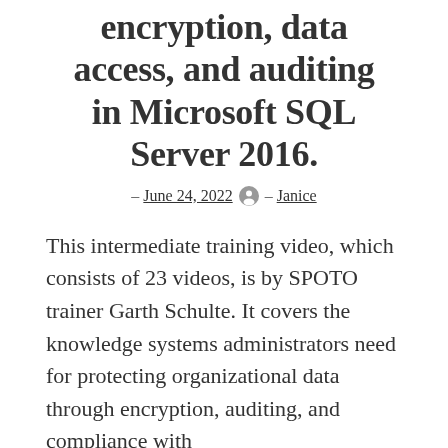encryption, data access, and auditing in Microsoft SQL Server 2016.
– June 24, 2022 – Janice
This intermediate training video, which consists of 23 videos, is by SPOTO trainer Garth Schulte. It covers the knowledge systems administrators need for protecting organizational data through encryption, auditing, and compliance with